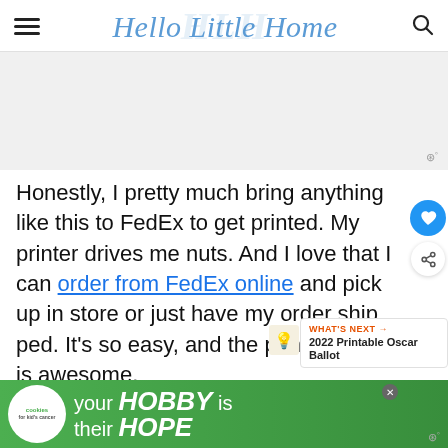Hello Little Home
[Figure (other): Gray advertisement placeholder area with Mediavine badge in bottom right]
Honestly, I pretty much bring anything like this to FedEx to get printed. My printer drives me nuts. And I love that I can order from FedEx online and pick up in store or just have my order shipped. It's so easy, and the print quality is awesome.
[Figure (other): Cookies for Kid's Cancer advertisement banner with green background: 'your HOBBY is their HOPE']